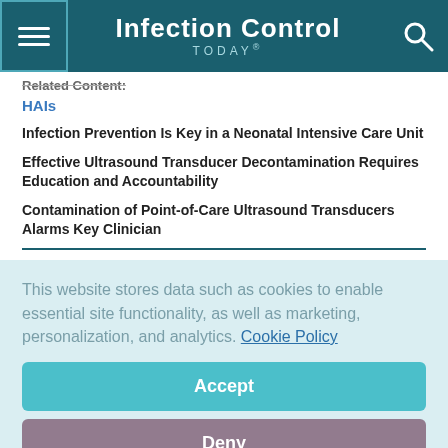Infection Control TODAY®
Related Content:
HAIs
Infection Prevention Is Key in a Neonatal Intensive Care Unit
Effective Ultrasound Transducer Decontamination Requires Education and Accountability
Contamination of Point-of-Care Ultrasound Transducers Alarms Key Clinician
This website stores data such as cookies to enable essential site functionality, as well as marketing, personalization, and analytics. Cookie Policy